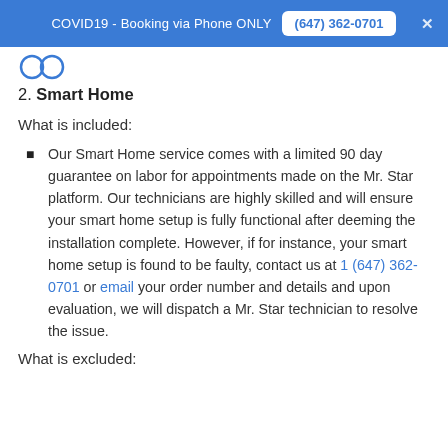COVID19 - Booking via Phone ONLY  (647) 362-0701
2. Smart Home
What is included:
Our Smart Home service comes with a limited 90 day guarantee on labor for appointments made on the Mr. Star platform. Our technicians are highly skilled and will ensure your smart home setup is fully functional after deeming the installation complete. However, if for instance, your smart home setup is found to be faulty, contact us at 1 (647) 362-0701 or email your order number and details and upon evaluation, we will dispatch a Mr. Star technician to resolve the issue.
What is excluded: